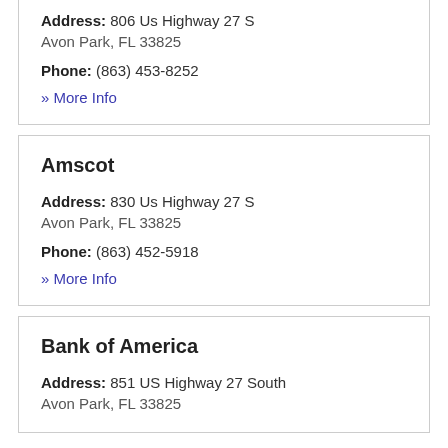Address: 806 Us Highway 27 S
Avon Park, FL 33825
Phone: (863) 453-8252
» More Info
Amscot
Address: 830 Us Highway 27 S
Avon Park, FL 33825
Phone: (863) 452-5918
» More Info
Bank of America
Address: 851 US Highway 27 South
Avon Park, FL 33825